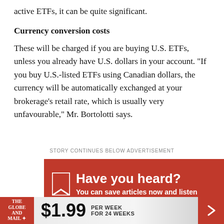active ETFs, it can be quite significant.
Currency conversion costs
These will be charged if you are buying U.S. ETFs, unless you already have U.S. dollars in your account. "If you buy U.S.-listed ETFs using Canadian dollars, the currency will be automatically exchanged at your brokerage's retail rate, which is usually very unfavourable," Mr. Bortolotti says.
STORY CONTINUES BELOW ADVERTISEMENT
[Figure (infographic): Red advertisement banner for Globe and Mail: 'Have you heard? You can save articles now and listen...' with bookmark icon]
[Figure (infographic): Bottom subscription bar: The Globe and Mail logo, $1.99 PER WEEK FOR 24 WEEKS with red arrow button]